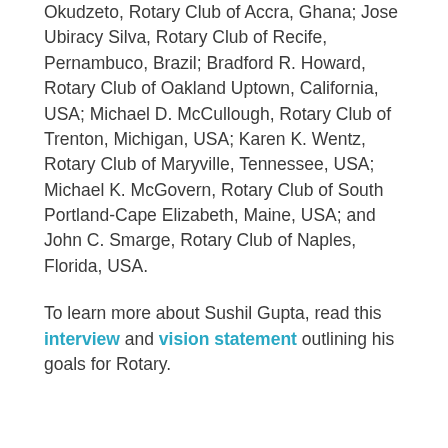Okudzeto, Rotary Club of Accra, Ghana; Jose Ubiracy Silva, Rotary Club of Recife, Pernambuco, Brazil; Bradford R. Howard, Rotary Club of Oakland Uptown, California, USA; Michael D. McCullough, Rotary Club of Trenton, Michigan, USA; Karen K. Wentz, Rotary Club of Maryville, Tennessee, USA; Michael K. McGovern, Rotary Club of South Portland-Cape Elizabeth, Maine, USA; and John C. Smarge, Rotary Club of Naples, Florida, USA.
To learn more about Sushil Gupta, read this interview and vision statement outlining his goals for Rotary.